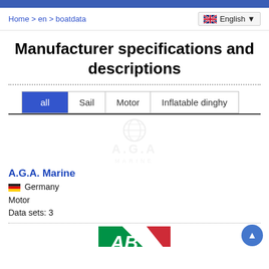Home > en > boatdata | English
Manufacturer specifications and descriptions
all
Sail
Motor
Inflatable dinghy
[Figure (logo): A.G.A. Marine logo in light gray with circular globe icon above]
A.G.A. Marine
Germany
Motor
Data sets: 3
[Figure (logo): AB logo with Italian flag-colored diagonal stripes, partially visible at bottom]